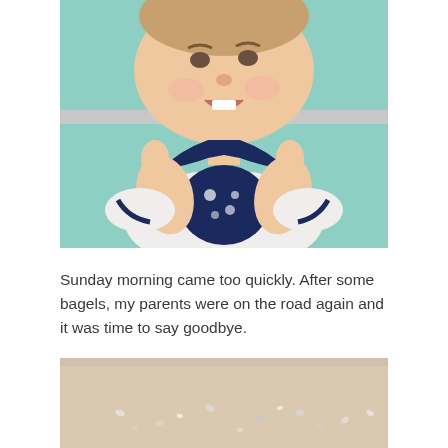[Figure (photo): A young smiling boy wearing a white t-shirt with navy blue collar and a navy floral bib or apron, hands raised near his chest, with a teal/green blurred background]
Sunday morning came too quickly. After some bagels, my parents were on the road again and it was time to say goodbye.
[Figure (photo): Close-up of a table surface with scattered small white/pastel confetti or flower petals on a light beige background]